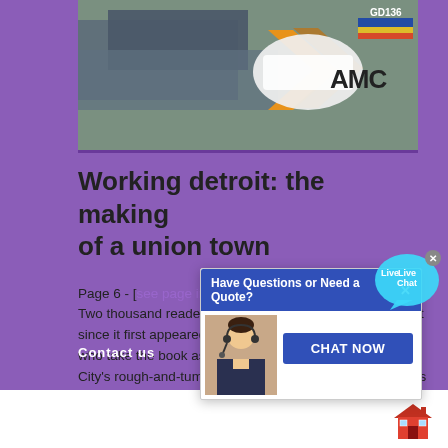[Figure (photo): Photograph showing industrial shipping containers or freight equipment with AMC logo visible in the bottom right corner]
Working detroit: the making of a union town
Page 6 - [see page image] Preface to the 2nd sg edition Two thousand readers have responded to Working Detroit since it first appeared in the fall of 1984: out-of-towners who take the book as a dramatic account of the Motor City's rough-and-tumble history, and home-town Detroiters who see the book as a sort of family album, a mirror that captures a part of their lives.
Contact us
[Figure (screenshot): Live chat popup widget with header 'Have Questions or Need a Quote?', a customer service representative photo, and a 'CHAT NOW' button. A 'Live Chat' speech bubble icon appears to the upper right.]